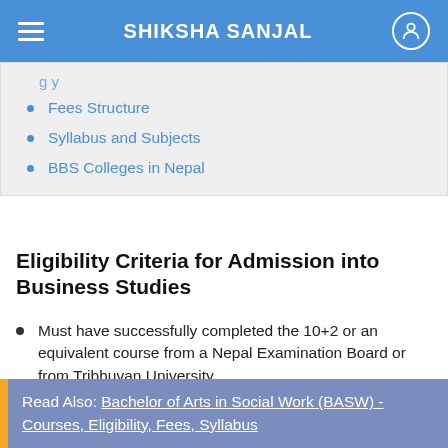SHIKSHA SANJAL
Fees Structure
Syllabus and Subjects
BBS Colleges in Nepal
Eligibility Criteria for Admission into Business Studies
Must have successfully completed the 10+2 or an equivalent course from a Nepal Examination Board or from Tribhuvan University.
Must have scored at least D+ in each subject in SLC
Read Also: Bachelor of Arts in Social Work (BASW) - Courses, Eligibility, Fees, Syllabus